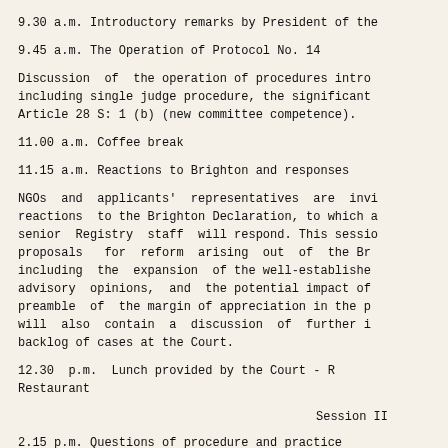9.30 a.m. Introductory remarks by President of the
9.45 a.m. The Operation of Protocol No. 14
Discussion of the operation of procedures introduced including single judge procedure, the significant Article 28 S: 1 (b) (new committee competence).
11.00 a.m. Coffee break
11.15 a.m. Reactions to Brighton and responses
NGOs and applicants' representatives are invited to give reactions to the Brighton Declaration, to which a panel of senior Registry staff will respond. This session will cover proposals for reform arising out of the Brighton process, including the expansion of the well-established procedure for advisory opinions, and the potential impact of references in preamble of the margin of appreciation in the pr... will also contain a discussion of further ic... backlog of cases at the Court.
12.30 p.m. Lunch provided by the Court - H Restaurant
Session II
2.15 p.m. Questions of procedure and practice